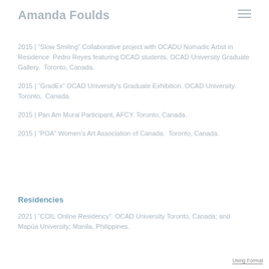Amanda Foulds
2015 | “Slow Smiling” Collaborative project with OCADU Nomadic Artist in Residence  Pedro Reyes featuring OCAD students. OCAD University Graduate Gallery.  Toronto, Canada.
2015 | “GradEx” OCAD University's Graduate Exhibition. OCAD University. Toronto,  Canada.
2015 | Pan Am Mural Participant, AFCY. Toronto, Canada.
2015 | “POA” Women’s Art Association of Canada.  Toronto, Canada.
Residencies
2021 | “COIL Online Residency”. OCAD University Toronto, Canada; and Mapúa University; Manila, Philippines.
Using Format